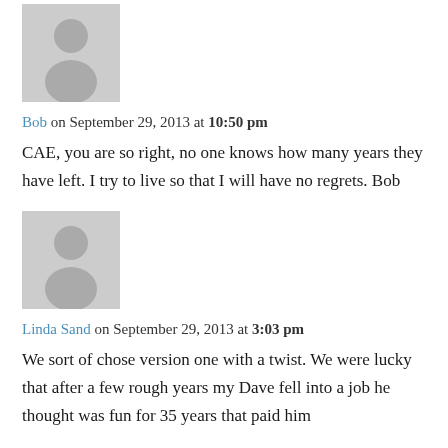[Figure (illustration): Gray placeholder avatar silhouette icon for user Bob]
Bob on September 29, 2013 at 10:50 pm
CAE, you are so right, no one knows how many years they have left. I try to live so that I will have no regrets. Bob
[Figure (illustration): Gray placeholder avatar silhouette icon for user Linda Sand]
Linda Sand on September 29, 2013 at 3:03 pm
We sort of chose version one with a twist. We were lucky that after a few rough years my Dave fell into a job he thought was fun for 35 years that paid him